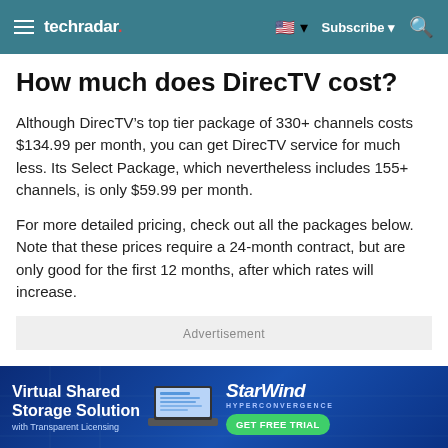techradar. Subscribe
How much does DirecTV cost?
Although DirecTV’s top tier package of 330+ channels costs $134.99 per month, you can get DirecTV service for much less. Its Select Package, which nevertheless includes 155+ channels, is only $59.99 per month.
For more detailed pricing, check out all the packages below. Note that these prices require a 24-month contract, but are only good for the first 12 months, after which rates will increase.
Advertisement
[Figure (other): StarWind Virtual Shared Storage Solution advertisement banner with laptop illustration and GET FREE TRIAL button]